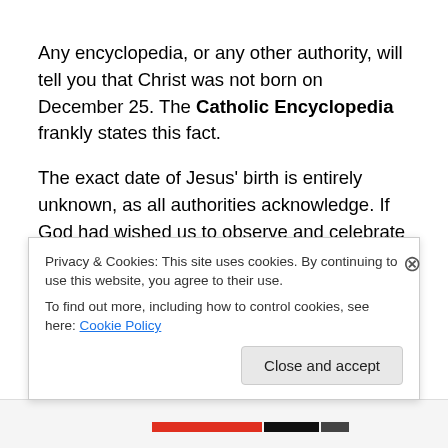Any encyclopedia, or any other authority, will tell you that Christ was not born on December 25. The Catholic Encyclopedia frankly states this fact.
The exact date of Jesus' birth is entirely unknown, as all authorities acknowledge. If God had wished us to observe and celebrate Christ's birthday, He would not have so completely hidden the exact date.
Privacy & Cookies: This site uses cookies. By continuing to use this website, you agree to their use. To find out more, including how to control cookies, see here: Cookie Policy